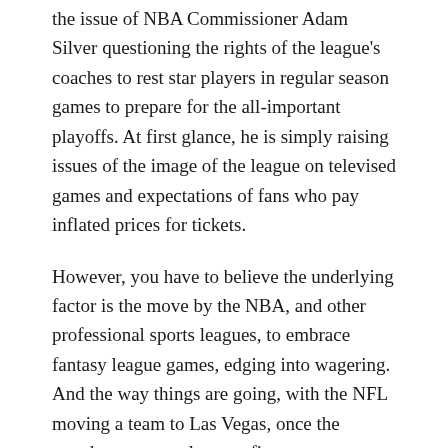the issue of NBA Commissioner Adam Silver questioning the rights of the league's coaches to rest star players in regular season games to prepare for the all-important playoffs. At first glance, he is simply raising issues of the image of the league on televised games and expectations of fans who pay inflated prices for tickets.
However, you have to believe the underlying factor is the move by the NBA, and other professional sports leagues, to embrace fantasy league games, edging into wagering. And the way things are going, with the NFL moving a team to Las Vegas, once the greedy pro sports leagues figure out a way to maximize new revenue from gambling, openly betting on games will be a reality.
With large sums of gambling money riding on the outcome of games, all sorts of questions could be raised even when star players are rested for legitimate reasons. It's an interesting